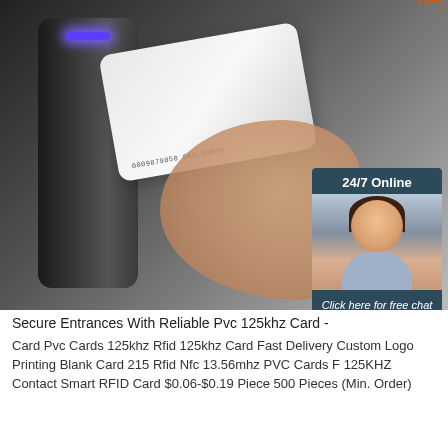[Figure (photo): Photo of an RFID card reader device with a hand holding a white proximity card showing serial number 0009879050 665,00079, alongside a 24/7 online customer support chat widget with agent photo and QUOTATION button]
Secure Entrances With Reliable Pvc 125khz Card -
Card Pvc Cards 125khz Rfid 125khz Card Fast Delivery Custom Logo Printing Blank Card 215 Rfid Nfc 13.56mhz PVC Cards F 125KHZ Contact Smart RFID Card $0.06-$0.19 Piece 500 Pieces (Min. Order)